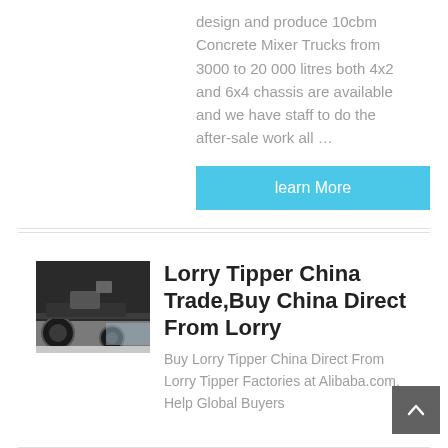design and produce 10cbm Concrete Mixer Trucks from 3000 to 20 000 litres both 4x2 and 6x4 chassis are available and we have staff to do the after-sale work all …
learn More
[Figure (photo): Photo of the undercarriage/wheel area of a lorry tipper truck, showing mechanical components and wheels, viewed from below at an angle.]
Lorry Tipper China Trade,Buy China Direct From Lorry
Buy Lorry Tipper China Direct From Lorry Tipper Factories at Alibaba.com. Help Global Buyers